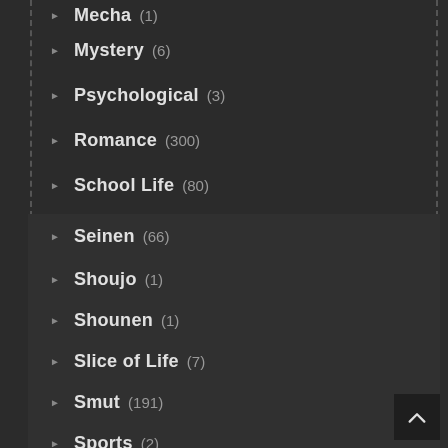Mecha (1)
Mystery (6)
Psychological (3)
Romance (300)
School Life (80)
Sci-fi (4)
Seinen (66)
Shoujo (1)
Shounen (1)
Slice of Life (7)
Smut (191)
Sports (2)
Supernatural (10)